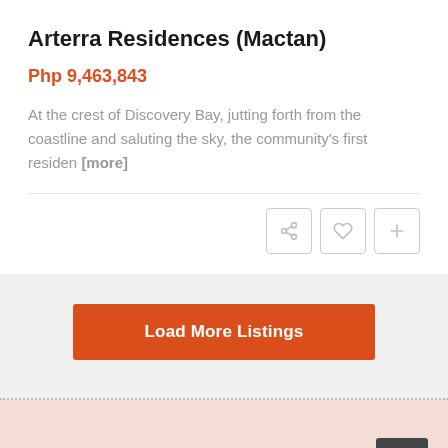Arterra Residences (Mactan)
Php 9,463,843
At the crest of Discovery Bay, jutting forth from the coastline and saluting the sky, the community's first residen [more]
Load More Listings
LATEST LISTINGS